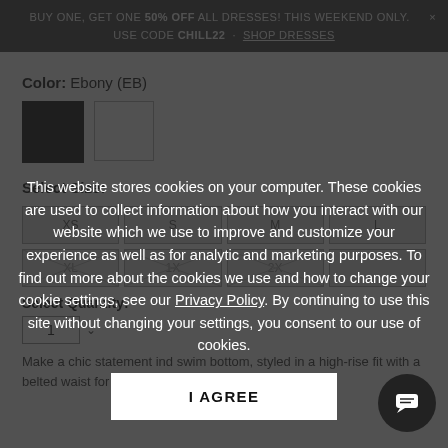BUY ONE, GET ONE 50% OFF ALL DRESSES! THIS WEEKEND ONLY. × USE CODE CHILL22 · SHOP DRESSES
Color: Ebony (EB)
[Figure (other): Two color swatches: black (selected) and white]
Select Size:
[Figure (other): Size selection grid with buttons: XS, S, M, L (row 1); XL, 1X, 2X (row 2, crossed out/unavailable)]
Select Quantity:
[Figure (other): Quantity dropdown showing '1' with a dropdown arrow]
Make a chic statement i... d swim bottom, styled in a high-rise fit with a belted waist for a sophisticated touch. A
This website stores cookies on your computer. These cookies are used to collect information about how you interact with our website which we use to improve and customize your experience as well as for analytic and marketing purposes. To find out more about the cookies we use and how to change your cookie settings, see our Privacy Policy. By continuing to use this site without changing your settings, you consent to our use of cookies.
I AGREE